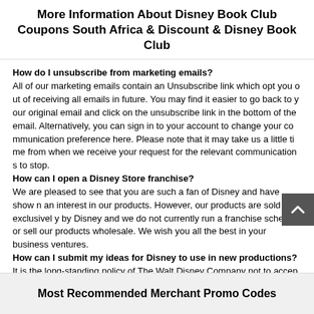More Information About Disney Book Club Coupons South Africa & Discount & Disney Book Club
How do I unsubscribe from marketing emails?
All of our marketing emails contain an Unsubscribe link which opt you out of receiving all emails in future. You may find it easier to go back to your original email and click on the unsubscribe link in the bottom of the email. Alternatively, you can sign in to your account to change your communication preference here. Please note that it may take us a little time from when we receive your request for the relevant communications to stop.
How can I open a Disney Store franchise?
We are pleased to see that you are such a fan of Disney and have shown an interest in our products. However, our products are sold exclusively by Disney and we do not currently run a franchise scheme or sell our products wholesale. We wish you all the best in your business ventures.
How can I submit my ideas for Disney to use in new productions?
It is the long-standing policy of The Walt Disney Company not to accept unsolicited submissions of creative material. We hope you understand that it is the intent of this policy to avoid the possibility of future misunderstandings when projects developed by our professional staff might seem to others to be similar to their own creative work.
Most Recommended Merchant Promo Codes